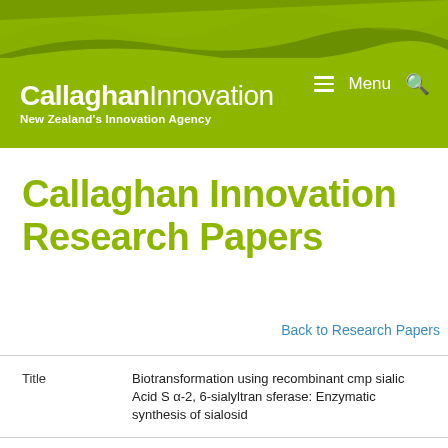[Figure (logo): Callaghan Innovation logo with tagline 'New Zealand's Innovation Agency' on green background with decorative wave shapes]
Callaghan Innovation Research Papers
Back to Research Papers
| Field | Value |
| --- | --- |
| Title | Biotransformation using recombinant cmp sialic Acid S α-2, 6-sialyltran sferase: Enzymatic synthesis of sialosid... |
| Publication Type | Journal Article |